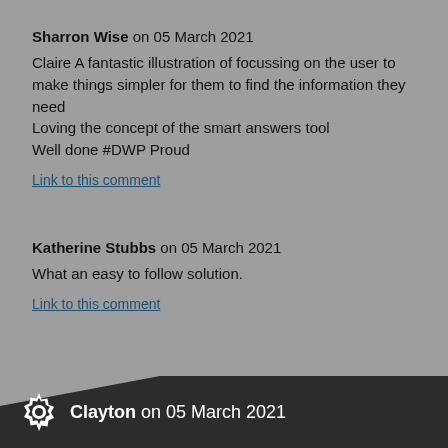Sharron Wise on 05 March 2021
Claire A fantastic illustration of focussing on the user to make things simpler for them to find the information they need
Loving the concept of the smart answers tool
Well done #DWP Proud
Link to this comment
Katherine Stubbs on 05 March 2021
What an easy to follow solution.
Link to this comment
Clayton on 05 March 2021